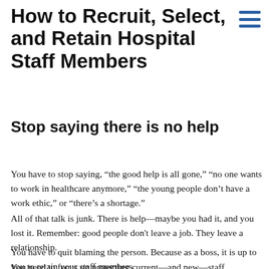How to Recruit, Select, and Retain Hospital Staff Members
Stop saying there is no help
You have to stop saying, “the good help is all gone,” “no one wants to work in healthcare anymore,” “the young people don’t have a work ethic,” or “there’s a shortage.”
All of that talk is junk. There is help—maybe you had it, and you lost it. Remember: good people don't leave a job. They leave a relationship.
You have to quit blaming the person. Because as a boss, it is up to you to retain your staff members.
You need to focus on protecting current—and new—staff